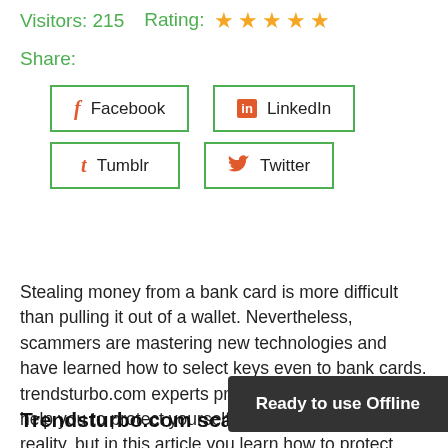Visitors: 215    Rating: ★★★★★
Share:
[Figure (other): Social sharing buttons: Facebook, LinkedIn, Tumblr, Twitter with green borders and orange icons]
Stealing money from a bank card is more difficult than pulling it out of a wallet. Nevertheless, scammers are mastering new technologies and have learned how to select keys even to bank cards. trendsturbo.com experts prepared this material to help you to protect yourself. Online scams are a sad reality, but in this article you learn how to protect yourself.
Trendsturbo.com scam check: what
Ready to use Offline